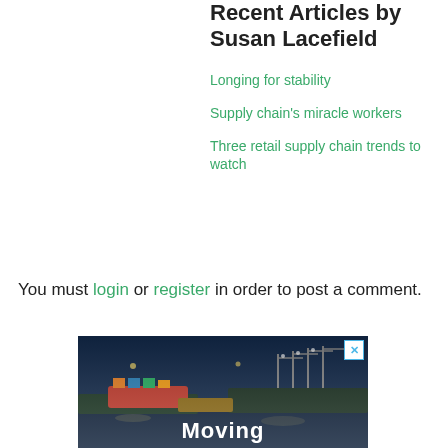Recent Articles by Susan Lacefield
Longing for stability
Supply chain's miracle workers
Three retail supply chain trends to watch
You must login or register in order to post a comment.
[Figure (photo): Aerial night photo of a busy port with container ships, cranes, and cargo, with 'Moving' text overlaid at the bottom and a close button in the top right corner.]